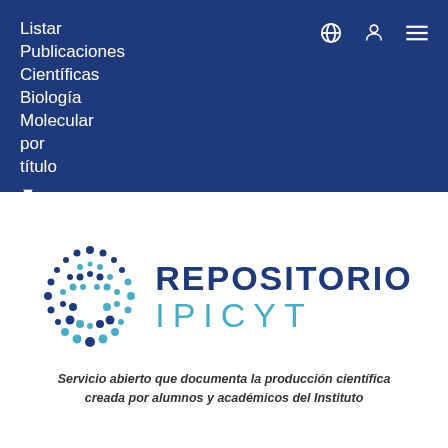Listar Publicaciones Científicas Biología Molecular por título
[Figure (logo): Repositorio IPICYT logo with circular dot pattern in dark blue and light blue, text reading REPOSITORIO IPICYT]
Servicio abierto que documenta la producción científica creada por alumnos y académicos del Instituto